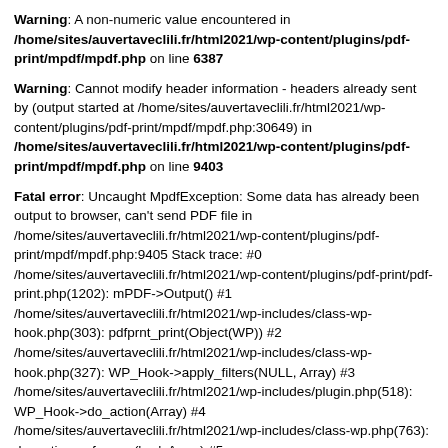Warning: A non-numeric value encountered in /home/sites/auvertaveclili.fr/html2021/wp-content/plugins/pdf-print/mpdf/mpdf.php on line 6387
Warning: Cannot modify header information - headers already sent by (output started at /home/sites/auvertaveclili.fr/html2021/wp-content/plugins/pdf-print/mpdf/mpdf.php:30649) in /home/sites/auvertaveclili.fr/html2021/wp-content/plugins/pdf-print/mpdf/mpdf.php on line 9403
Fatal error: Uncaught MpdfException: Some data has already been output to browser, can't send PDF file in /home/sites/auvertaveclili.fr/html2021/wp-content/plugins/pdf-print/mpdf/mpdf.php:9405 Stack trace: #0 /home/sites/auvertaveclili.fr/html2021/wp-content/plugins/pdf-print/pdf-print.php(1202): mPDF->Output() #1 /home/sites/auvertaveclili.fr/html2021/wp-includes/class-wp-hook.php(303): pdfprnt_print(Object(WP)) #2 /home/sites/auvertaveclili.fr/html2021/wp-includes/class-wp-hook.php(327): WP_Hook->apply_filters(NULL, Array) #3 /home/sites/auvertaveclili.fr/html2021/wp-includes/plugin.php(518): WP_Hook->do_action(Array) #4 /home/sites/auvertaveclili.fr/html2021/wp-includes/class-wp.php(763): do_action_ref_array('wp', Array) #5